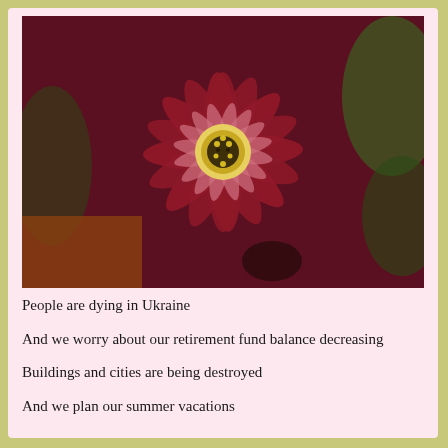[Figure (photo): Close-up photograph of a dark red/maroon flower with many elongated petals radiating from a yellow center with dark stamens, surrounded by green foliage in the background.]
People are dying in Ukraine
And we worry about our retirement fund balance decreasing
Buildings and cities are being destroyed
And we plan our summer vacations